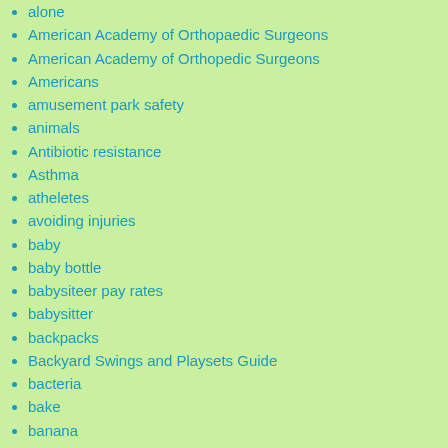alone
American Academy of Orthopaedic Surgeons
American Academy of Orthopedic Surgeons
Americans
amusement park safety
animals
Antibiotic resistance
Asthma
atheletes
avoiding injuries
baby
baby bottle
babysiteer pay rates
babysitter
backpacks
Backyard Swings and Playsets Guide
bacteria
bake
banana
BBQ
bed time
bedtime
bedtime routines
is there to see that his family.
Teacher Pat teaches more them academically, teaches appropriate school behavior. He adult, sharing supplies, respecting the right taking turns, being kind to classmates, playground and bathroom behaviors are lesson plans.
Share | Tweet | Share
Categories: Safety | Tags: community helpers,